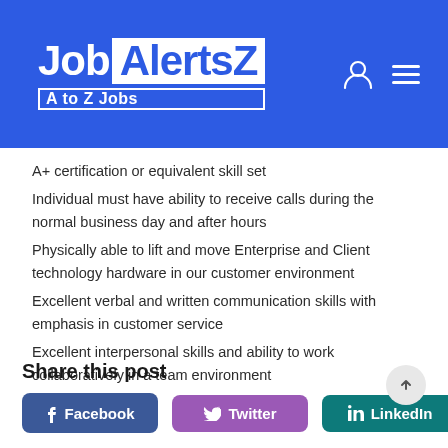[Figure (logo): JobAlertsZ - A to Z Jobs logo on blue header background with user icon and hamburger menu]
A+ certification or equivalent skill set
Individual must have ability to receive calls during the normal business day and after hours
Physically able to lift and move Enterprise and Client technology hardware in our customer environment
Excellent verbal and written communication skills with emphasis in customer service
Excellent interpersonal skills and ability to work collaboratively in a team environment
Share this post
Facebook   Twitter   LinkedIn